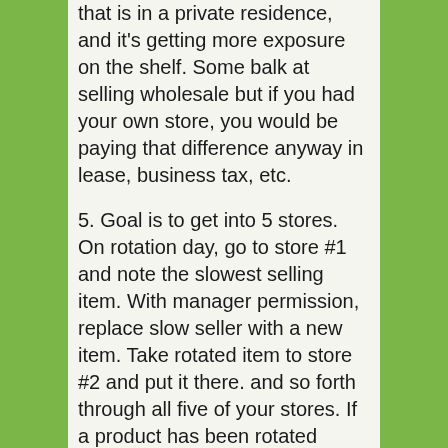that is in a private residence, and it's getting more exposure on the shelf. Some balk at selling wholesale but if you had your own store, you would be paying that difference anyway in lease, business tax, etc.
5. Goal is to get into 5 stores. On rotation day, go to store #1 and note the slowest selling item. With manager permission, replace slow seller with a new item. Take rotated item to store #2 and put it there. and so forth through all five of your stores. If a product has been rotated through all 5 wholesalers, consider not carrying it again after taking it to eBay.
As you work on this and build it up, it will help with sales. The store resistance to carrying your product will waver when they know you do rotations so they never have to mark items